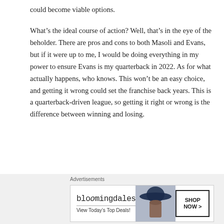could become viable options.
What’s the ideal course of action? Well, that’s in the eye of the beholder. There are pros and cons to both Masoli and Evans, but if it were up to me, I would be doing everything in my power to ensure Evans is my quarterback in 2022. As for what actually happens, who knows. This won’t be an easy choice, and getting it wrong could set the franchise back years. This is a quarterback-driven league, so getting it right or wrong is the difference between winning and losing.
[Figure (other): Bloomingdales advertisement banner: logo text 'bloomingdales', subtext 'View Today’s Top Deals!', image of woman in wide-brim hat, and 'SHOP NOW >' button]